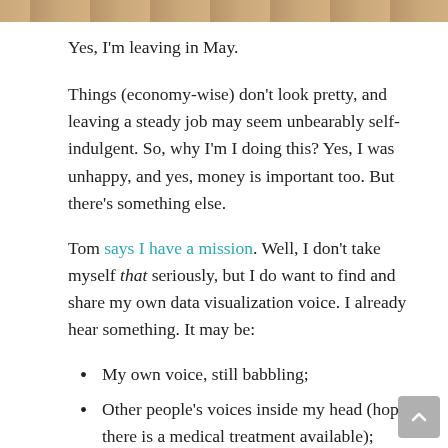[Figure (photo): Partial photo strip at the top of the page, showing a sandy/earthy outdoor scene.]
Yes, I'm leaving in May.
Things (economy-wise) don't look pretty, and leaving a steady job may seem unbearably self-indulgent. So, why I'm I doing this? Yes, I was unhappy, and yes, money is important too. But there's something else.
Tom says I have a mission. Well, I don't take myself that seriously, but I do want to find and share my own data visualization voice. I already hear something. It may be:
My own voice, still babbling;
Other people's voices inside my head (hope there is a medical treatment available);
My very own misinterpretation of Stephen Few's words (again).